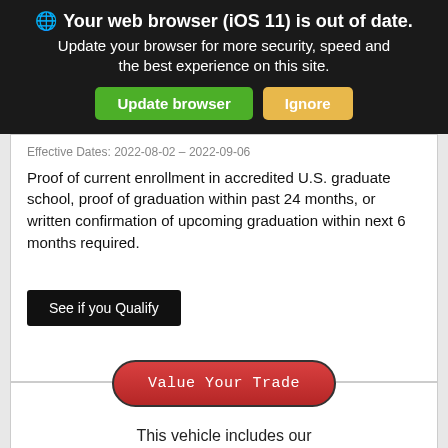🌐 Your web browser (iOS 11) is out of date. Update your browser for more security, speed and the best experience on this site.
Effective Dates: 2022-08-02 – 2022-09-06
Proof of current enrollment in accredited U.S. graduate school, proof of graduation within past 24 months, or written confirmation of upcoming graduation within next 6 months required.
See if you Qualify
Value Your Trade
This vehicle includes our